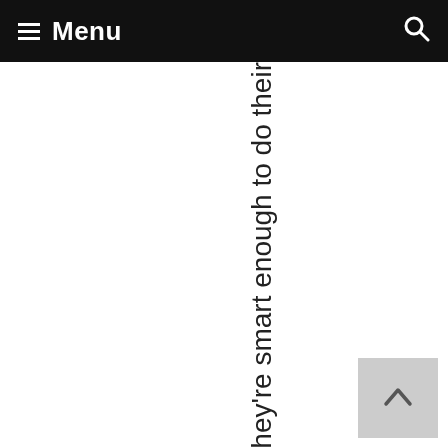Menu
watch Rooster Teeth videos A LOT on Youtube, and they're smart enough to do their